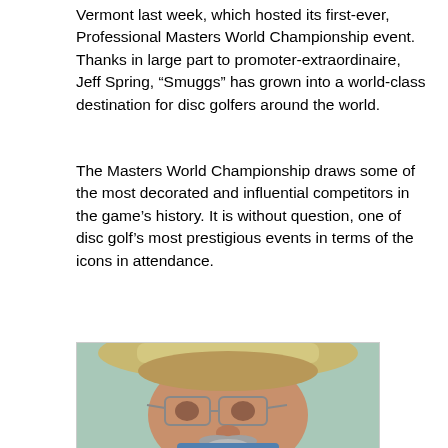Vermont last week, which hosted its first-ever, Professional Masters World Championship event. Thanks in large part to promoter-extraordinaire, Jeff Spring, “Smuggs” has grown into a world-class destination for disc golfers around the world.
The Masters World Championship draws some of the most decorated and influential competitors in the game’s history. It is without question, one of disc golf’s most prestigious events in terms of the icons in attendance.
[Figure (photo): Close-up portrait photo of an older man with a goatee/mustache wearing glasses and a wide-brimmed hat, smiling slightly.]